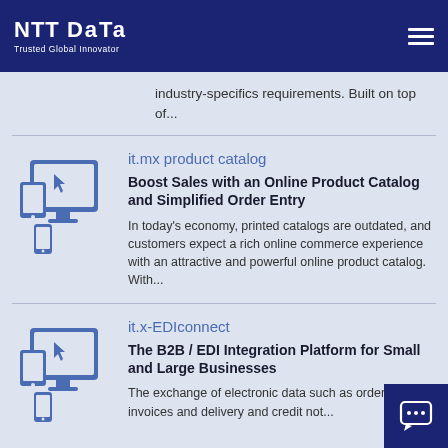NTT DATA — Trusted Global Innovator
industry-specifics requirements. Built on top of...
it.mx product catalog
Boost Sales with an Online Product Catalog and Simplified Order Entry
In today's economy, printed catalogs are outdated, and customers expect a rich online commerce experience with an attractive and powerful online product catalog. With...
it.x-EDIconnect
The B2B / EDI Integration Platform for Small and Large Businesses
The exchange of electronic data such as orders, invoices and delivery and credit not...